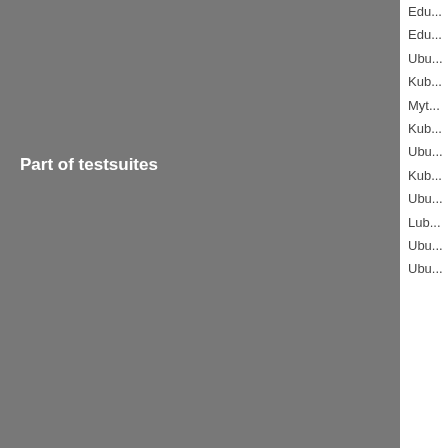| Part of testsuites | Written by |
| --- | --- |
|  | Edu... |
|  | Edu... |
|  | Ubu... |
|  | Kub... |
|  | Myt... |
|  | Kub... |
|  | Ubu... |
|  | Kub... |
|  | Ubu... |
|  | Lub... |
|  | Ubu... |
|  | Ubu... |
| Revision | Written by |
| --- | --- |
| Revision | Writ... |
| Revision | Writ... |
| Revision | Writ... |
| Revision | Writ... |
| Revision | Writ... |
| Revision | Writ... |